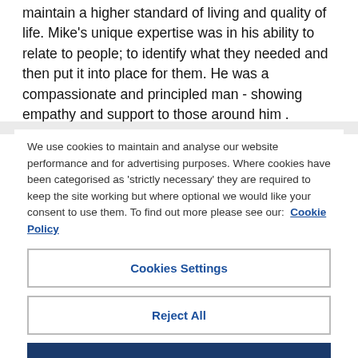maintain a higher standard of living and quality of life. Mike's unique expertise was in his ability to relate to people; to identify what they needed and then put it into place for them. He was a compassionate and principled man - showing empathy and support to those around him .
We use cookies to maintain and analyse our website performance and for advertising purposes. Where cookies have been categorised as 'strictly necessary' they are required to keep the site working but where optional we would like your consent to use them. To find out more please see our: Cookie Policy
Cookies Settings
Reject All
Accept All Cookies